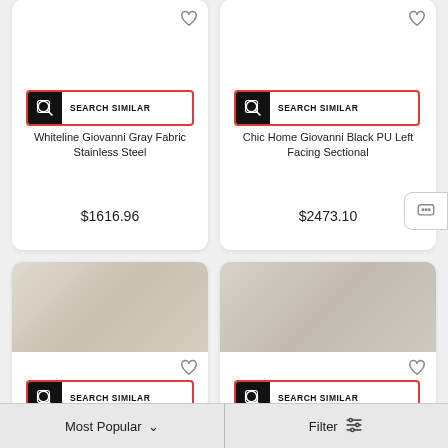[Figure (screenshot): Product card for Whiteline Giovanni Gray Fabric Stainless Steel sofa, showing a SEARCH SIMILAR button, heart icon, product name, and price $1616.96]
[Figure (screenshot): Product card for Chic Home Giovanni Black PU Left Facing Sectional sofa, showing a SEARCH SIMILAR button, heart icon, product name, and price $2473.10]
[Figure (photo): Product image of a white upholstered sofa set in a living room, with SEARCH SIMILAR button and heart icon]
[Figure (photo): Product image of a white upholstered sofa set in a living room (right card), with SEARCH SIMILAR button and heart icon]
Most Popular
Filter